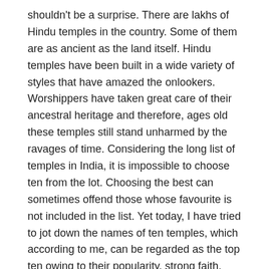shouldn't be a surprise. There are lakhs of Hindu temples in the country. Some of them are as ancient as the land itself. Hindu temples have been built in a wide variety of styles that have amazed the onlookers. Worshippers have taken great care of their ancestral heritage and therefore, ages old these temples still stand unharmed by the ravages of time. Considering the long list of temples in India, it is impossible to choose ten from the lot. Choosing the best can sometimes offend those whose favourite is not included in the list. Yet today, I have tried to jot down the names of ten temples, which according to me, can be regarded as the top ten owing to their popularity, strong faith, history and architectural importance. So, here it goes-
Famous Temples in India
1. Kashi Vishwanath